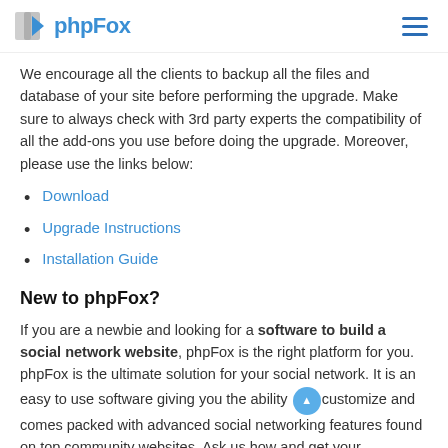phpFox
We encourage all the clients to backup all the files and database of your site before performing the upgrade. Make sure to always check with 3rd party experts the compatibility of all the add-ons you use before doing the upgrade. Moreover, please use the links below:
Download
Upgrade Instructions
Installation Guide
New to phpFox?
If you are a newbie and looking for a software to build a social network website, phpFox is the right platform for you. phpFox is the ultimate solution for your social network. It is an easy to use software giving you the ability customize and comes packed with advanced social networking features found on top community websites. Ask us how and get your